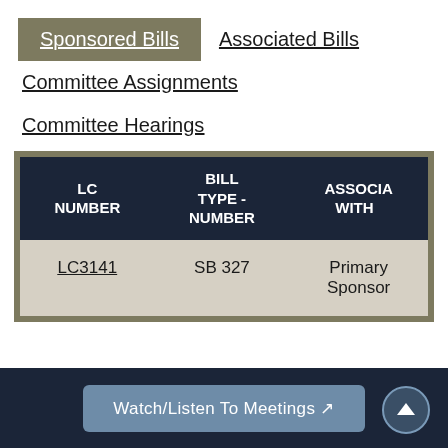Sponsored Bills
Associated Bills
Committee Assignments
Committee Hearings
| LC NUMBER | BILL TYPE - NUMBER | ASSOCIATED WITH... |
| --- | --- | --- |
| LC3141 | SB 327 | Primary Sponsor |
Watch/Listen To Meetings